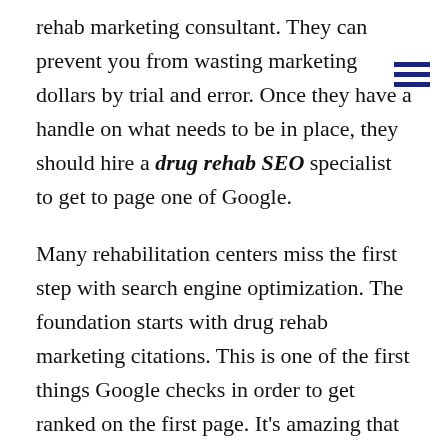rehab marketing consultant. They can prevent you from wasting marketing dollars by trial and error. Once they have a handle on what needs to be in place, they should hire a drug rehab SEO specialist to get to page one of Google.
Many rehabilitation centers miss the first step with search engine optimization. The foundation starts with drug rehab marketing citations. This is one of the first things Google checks in order to get ranked on the first page. It's amazing that about 90% of addiction treatment centers do not have citations or the NAP (name, address, and phone) do not match all citations. This is a critical error and one of the reasons that many alcohol rehabilitation center owners say marketing does not work.